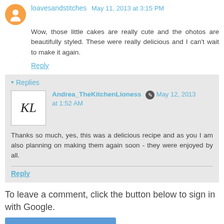loavesandstitches May 11, 2013 at 3:15 PM
Wow, those little cakes are really cute and the ohotos are beautifully styled. These were really delicious and I can't wait to make it again.
Reply
Replies
Andrea_TheKitchenLioness May 12, 2013 at 1:52 AM
Thanks so much, yes, this was a delicious recipe and as you I am also planning on making them again soon - they were enjoyed by all.
Reply
To leave a comment, click the button below to sign in with Google.
SIGN IN WITH GOOGLE